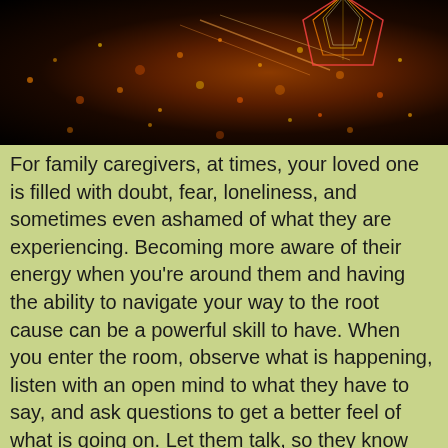[Figure (photo): Dark space-like background with orange/gold glowing bokeh sparkles and a colorful gem/crystal shape in the upper right corner]
For family caregivers, at times, your loved one is filled with doubt, fear, loneliness, and sometimes even ashamed of what they are experiencing. Becoming more aware of their energy when you're around them and having the ability to navigate your way to the root cause can be a powerful skill to have. When you enter the room, observe what is happening, listen with an open mind to what they have to say, and ask questions to get a better feel of what is going on. Let them talk, so they know they are being heard.
At times, it's the energy in-between the words where the emotions are hiding — so listening, observing, and feeling the energy become critical skills. The alternative is assumptions which can lead to arguments, and